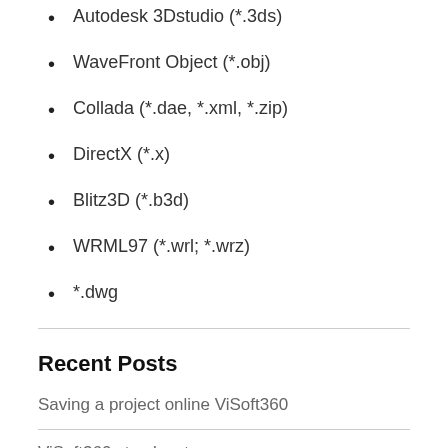Autodesk 3Dstudio (*.3ds)
WaveFront Object (*.obj)
Collada (*.dae, *.xml, *.zip)
DirectX (*.x)
Blitz3D (*.b3d)
WRML97 (*.wrl; *.wrz)
*.dwg
Recent Posts
Saving a project online ViSoft360
ViSoft360 step by step